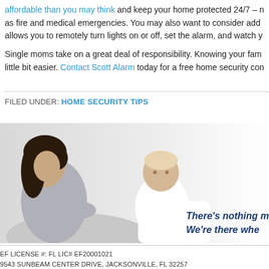affordable than you may think and keep your home protected 24/7 – as fire and medical emergencies. You may also want to consider add allows you to remotely turn lights on or off, set the alarm, and watch y
Single moms take on a great deal of responsibility. Knowing your fam little bit easier. Contact Scott Alarm today for a free home security con
FILED UNDER: HOME SECURITY TIPS
[Figure (photo): A woman with dark hair sitting on a white couch holding a baby, with text overlay reading 'There’s nothing m We’re there whe']
EF LICENSE #: FL LIC# EF20001021
9543 SUNBEAM CENTER DRIVE, JACKSONVILLE, FL 32257